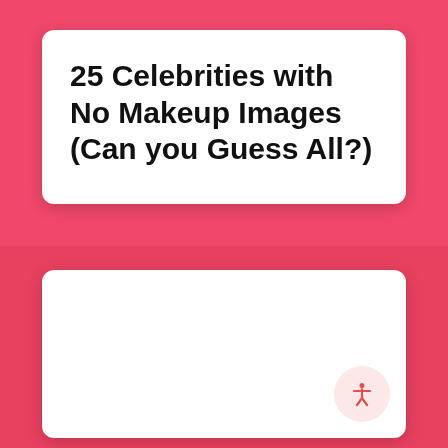25 Celebrities with No Makeup Images (Can you Guess All?)
[Figure (other): White card placeholder area, blank content region with accessibility icon button in bottom right corner]